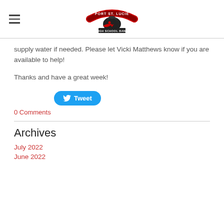Port St. Lucie High School Band
supply water if needed. Please let Vicki Matthews know if you are available to help!
Thanks and have a great week!
[Figure (other): Tweet button with Twitter bird icon]
0 Comments
Archives
July 2022
June 2022